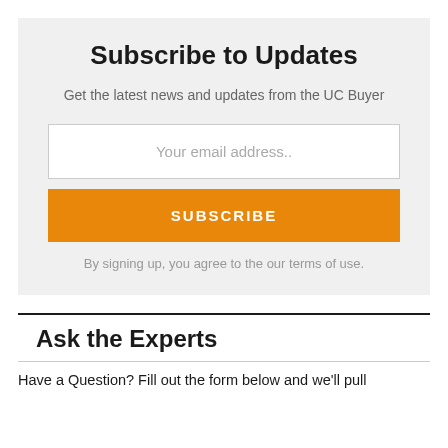Subscribe to Updates
Get the latest news and updates from the UC Buyer
Your email address..
SUBSCRIBE
By signing up, you agree to the our terms of use.
Ask the Experts
Have a Question? Fill out the form below and we'll pull